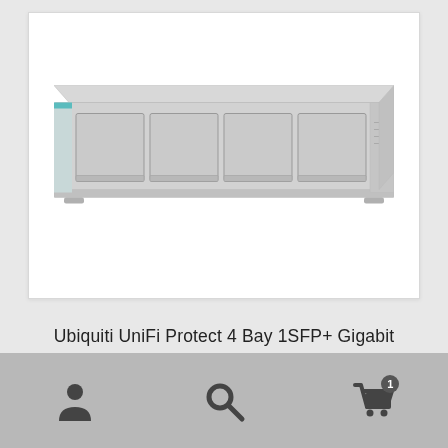[Figure (photo): Ubiquiti UniFi Protect 4-bay NVR device (rack-mount unit with 4 drive bays visible on the front, silver/gray finish with a teal accent on the front-left corner)]
Ubiquiti UniFi Protect 4 Bay 1SFP+ Gigabit Ethernet NVR | UNVR – UVC-NVR
[Figure (infographic): Website bottom navigation bar with three icons: user/account icon (left), search/magnifying glass icon (center), shopping cart icon with badge showing '1' (right)]